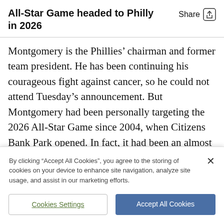All-Star Game headed to Philly in 2026
Montgomery is the Phillies’ chairman and former team president. He has been continuing his courageous fight against cancer, so he could not attend Tuesday’s announcement. But Montgomery had been personally targeting the 2026 All-Star Game since 2004, when Citizens Bank Park opened. In fact, it had been an almost unspoken truth since then: whenever somebody asked when Philly would host
By clicking “Accept All Cookies”, you agree to the storing of cookies on your device to enhance site navigation, analyze site usage, and assist in our marketing efforts.